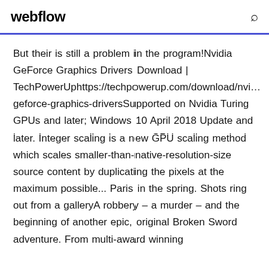webflow
But their is still a problem in the program!Nvidia GeForce Graphics Drivers Download | TechPowerUphttps://techpowerup.com/download/nvidia-geforce-graphics-driversSupported on Nvidia Turing GPUs and later; Windows 10 April 2018 Update and later. Integer scaling is a new GPU scaling method which scales smaller-than-native-resolution-size source content by duplicating the pixels at the maximum possible... Paris in the spring. Shots ring out from a galleryA robbery – a murder – and the beginning of another epic, original Broken Sword adventure. From multi-award winning